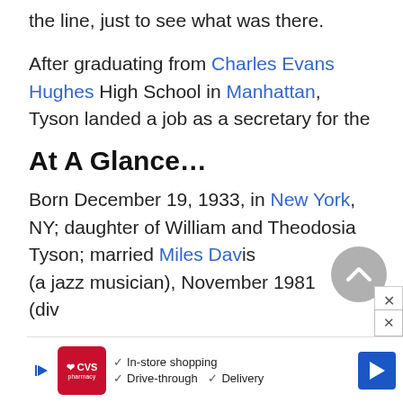the line, just to see what was there.
After graduating from Charles Evans Hughes High School in Manhattan, Tyson landed a job as a secretary for the
At A Glance...
Born December 19, 1933, in New York, NY; daughter of William and Theodosia Tyson; married Miles Davis (a jazz musician), November 1981 (div... a